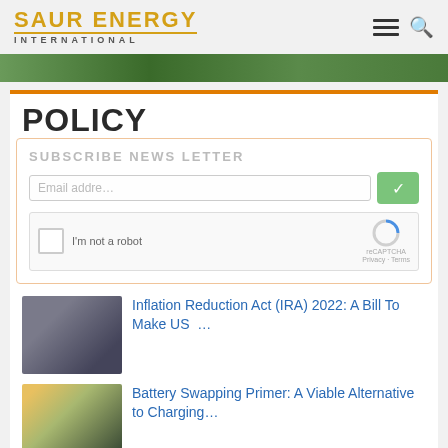SAUR ENERGY INTERNATIONAL
[Figure (photo): Green foliage strip at top of page]
POLICY
SUBSCRIBE NEWS LETTER
Inflation Reduction Act (IRA) 2022: A Bill To Make US …
Battery Swapping Primer: A Viable Alternative to Charging…
After Solar, Volatility Impacts Wind Manufacturers, Proje…